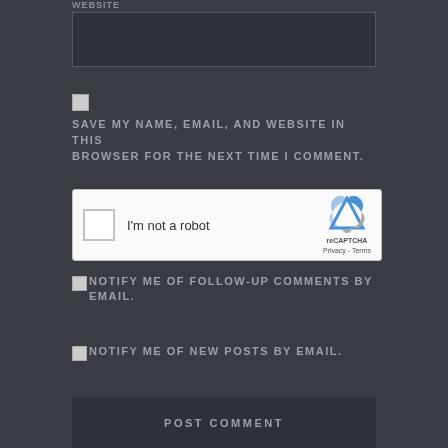WEBSITE
[Figure (screenshot): Website text input field, dark background]
SAVE MY NAME, EMAIL, AND WEBSITE IN THIS BROWSER FOR THE NEXT TIME I COMMENT.
[Figure (screenshot): reCAPTCHA widget with checkbox, I'm not a robot text, reCAPTCHA logo, Privacy and Terms links]
NOTIFY ME OF FOLLOW-UP COMMENTS BY EMAIL.
NOTIFY ME OF NEW POSTS BY EMAIL.
POST COMMENT